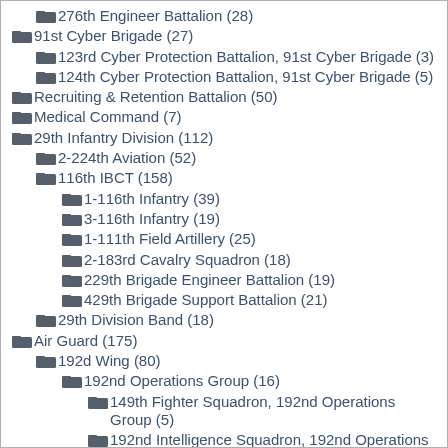276th Engineer Battalion (28)
91st Cyber Brigade (27)
123rd Cyber Protection Battalion, 91st Cyber Brigade (3)
124th Cyber Protection Battalion, 91st Cyber Brigade (5)
Recruiting & Retention Battalion (50)
Medical Command (7)
29th Infantry Division (112)
2-224th Aviation (52)
116th IBCT (158)
1-116th Infantry (39)
3-116th Infantry (19)
1-111th Field Artillery (25)
2-183rd Cavalry Squadron (18)
229th Brigade Engineer Battalion (19)
429th Brigade Support Battalion (21)
29th Division Band (18)
Air Guard (175)
192d Wing (80)
192nd Operations Group (16)
149th Fighter Squadron, 192nd Operations Group (5)
192nd Intelligence Squadron, 192nd Operations